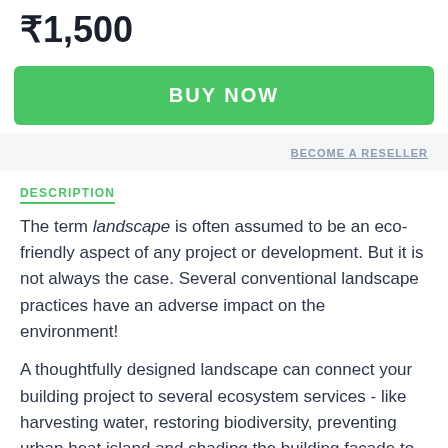₹1,500
[Figure (other): Green BUY NOW button]
BECOME A RESELLER
DESCRIPTION
The term landscape is often assumed to be an eco-friendly aspect of any project or development. But it is not always the case. Several conventional landscape practices have an adverse impact on the environment!
A thoughtfully designed landscape can connect your building project to several ecosystem services - like harvesting water, restoring biodiversity, preventing urban heat island and shading the building facade to name a few.
In this course, you will understand about green roof and...